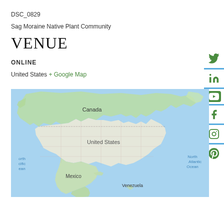DSC_0829
Sag Moraine Native Plant Community
VENUE
ONLINE
United States + Google Map
[Figure (map): Google Map showing North America including Canada, United States, Mexico, and Venezuela. North Pacific Ocean on the left, North Atlantic Ocean on the right.]